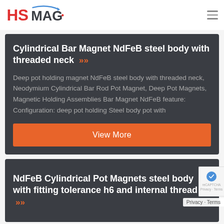HSMAG
Cylindrical Bar Magnet NdFeB steel body with threaded neck »»
Deep pot holding magnet NdFeB steel body with threaded neck, Neodymium Cylindrical Bar Rod Pot Magnet, Deep Pot Magnets, Magnetic Holding Assemblies Bar Magnet NdFeB feature: Configuration: deep pot holding Steel body pot with
View More
NdFeB Cylindrical Pot Magnets steel body with fitting tolerance h6 and internal thread »»